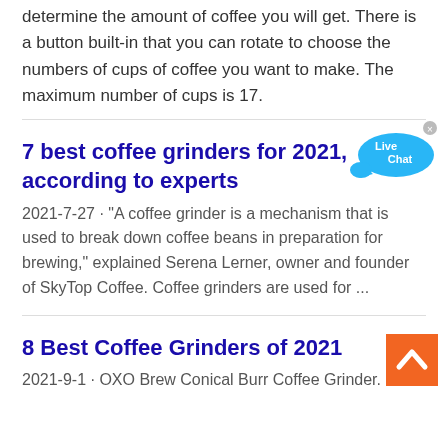determine the amount of coffee you will get. There is a button built-in that you can rotate to choose the numbers of cups of coffee you want to make. The maximum number of cups is 17.
7 best coffee grinders for 2021, according to experts
[Figure (illustration): Live Chat speech bubble icon in blue]
2021-7-27 · "A coffee grinder is a mechanism that is used to break down coffee beans in preparation for brewing," explained Serena Lerner, owner and founder of SkyTop Coffee. Coffee grinders are used for ...
[Figure (illustration): Orange scroll-to-top button with upward chevron arrow]
8 Best Coffee Grinders of 2021
2021-9-1 · OXO Brew Conical Burr Coffee Grinder.